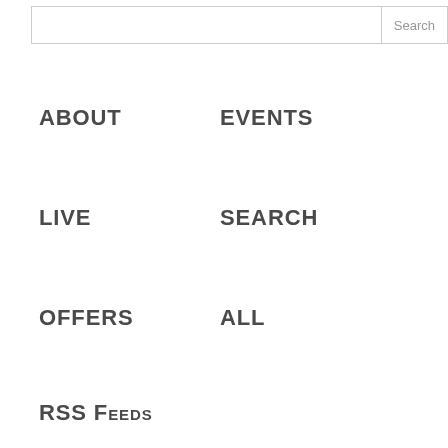[Figure (screenshot): Search input field with Search button on the right]
ABOUT
EVENTS
LIVE
SEARCH
OFFERS
ALL
RSS Feeds
[Figure (screenshot): Comment textarea field (bottom edge visible)]
Name *
[Figure (screenshot): Name input field]
Email *
[Figure (screenshot): Email input field (partially visible)]